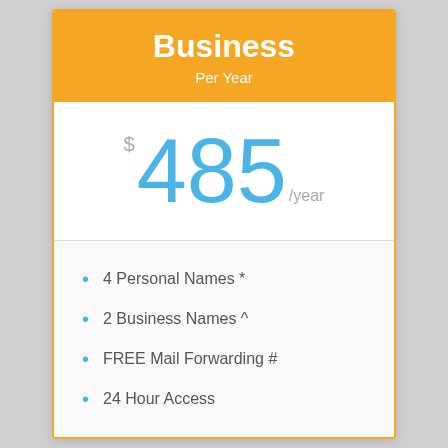Business
Per Year
$485 /year
4 Personal Names *
2 Business Names ^
FREE Mail Forwarding #
24 Hour Access